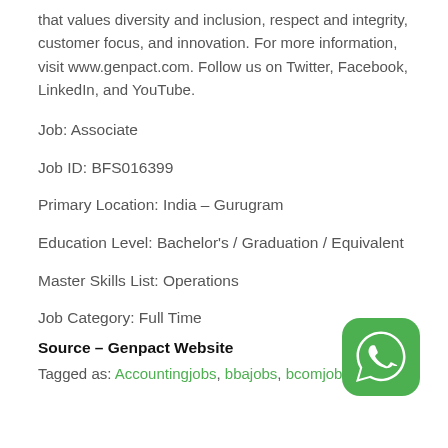that values diversity and inclusion, respect and integrity, customer focus, and innovation. For more information, visit www.genpact.com. Follow us on Twitter, Facebook, LinkedIn, and YouTube.
Job: Associate
Job ID: BFS016399
Primary Location: India – Gurugram
Education Level: Bachelor's / Graduation / Equivalent
Master Skills List: Operations
Job Category: Full Time
Source – Genpact Website
[Figure (logo): WhatsApp logo icon — green rounded square with white phone handset]
Tagged as: Accountingjobs, bbajobs, bcomjobs,